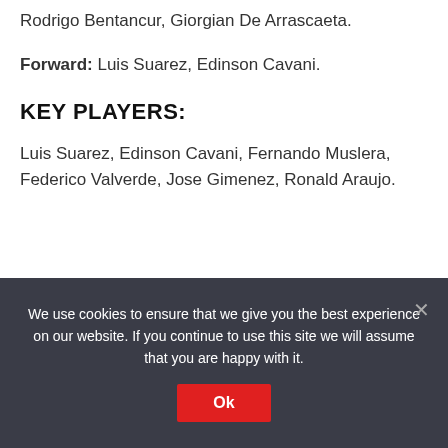Rodrigo Bentancur, Giorgian De Arrascaeta.
Forward: Luis Suarez, Edinson Cavani.
KEY PLAYERS:
Luis Suarez, Edinson Cavani, Fernando Muslera, Federico Valverde, Jose Gimenez, Ronald Araujo.
We use cookies to ensure that we give you the best experience on our website. If you continue to use this site we will assume that you are happy with it.